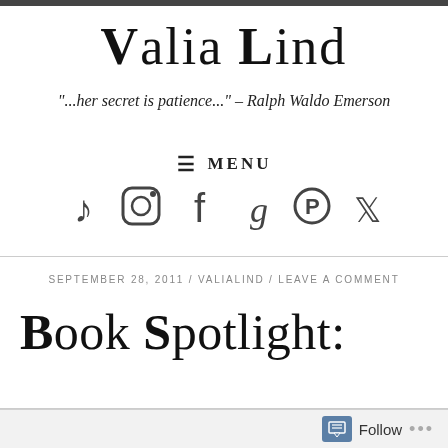Valia Lind
"...her secret is patience..." – Ralph Waldo Emerson
≡ MENU
[Figure (other): Social media icons row: TikTok, Instagram, Facebook, Goodreads, Pinterest, Twitter]
SEPTEMBER 28, 2011 / VALIALIND / LEAVE A COMMENT
Book Spotlight: